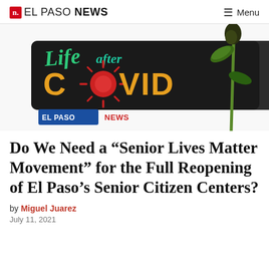n. EL PASO NEWS  ≡ Menu
[Figure (illustration): Life after COVID logo with coronavirus graphic and a green plant stem with leaves on white background, El Paso News logo at bottom left]
Do We Need a “Senior Lives Matter Movement” for the Full Reopening of El Paso’s Senior Citizen Centers?
by Miguel Juarez
July 11, 2021